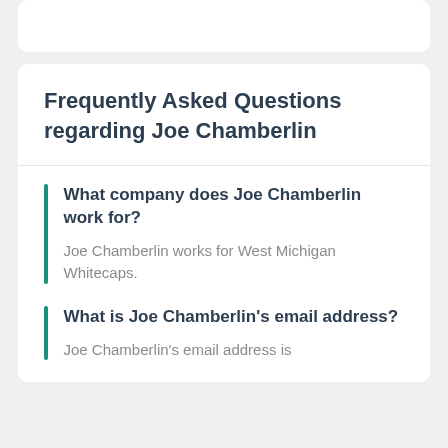Frequently Asked Questions regarding Joe Chamberlin
What company does Joe Chamberlin work for?
Joe Chamberlin works for West Michigan Whitecaps.
What is Joe Chamberlin's email address?
Joe Chamberlin's email address is